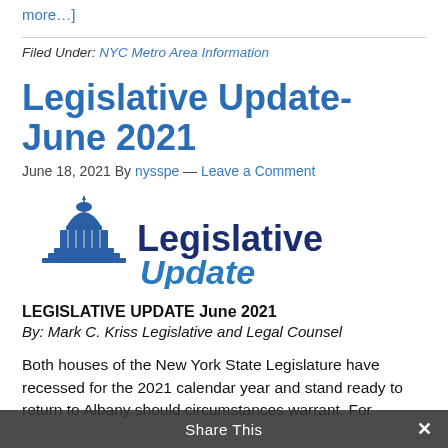more...]
Filed Under: NYC Metro Area Information
Legislative Update- June 2021
June 18, 2021 By nysspe — Leave a Comment
[Figure (logo): Legislative Update logo with capitol building icon, bold dark blue 'Legislative' and italic blue 'Update' text]
LEGISLATIVE UPDATE June 2021
By: Mark C. Kriss Legislative and Legal Counsel
Both houses of the New York State Legislature have recessed for the 2021 calendar year and stand ready to return to Albany should circumstances warrant. For
Share This